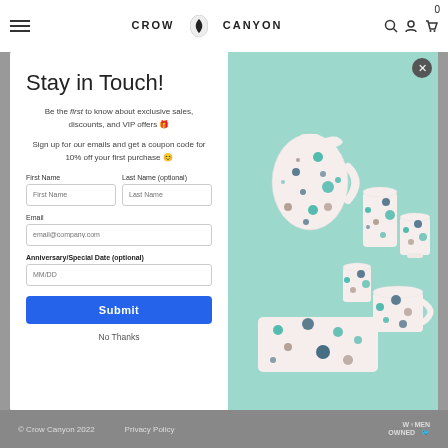CROW CANYON — navigation header with hamburger menu, logo, search, account, cart icons
Stay in Touch!
Be the first to know about exclusive sales, discounts, and VIP offers 🎁
Sign up for our emails and get a coupon code for 10% off your first purchase 😊
First Name
Last Name (optional)
Email
Anniversary/Special Date (optional)
Submit
No Thanks
[Figure (photo): Speckled enamelware pottery — pitcher, cups, mugs, and tray with teal/navy speckle pattern on mint green background]
© Crow Canyon 2022    Privacy Policy    WOMEN OWNED